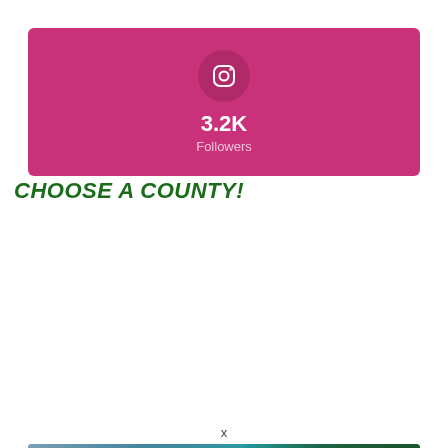[Figure (infographic): Instagram social media banner with pink/magenta background showing Instagram icon in a darker circle, '3.2K' follower count in bold white, and 'Followers' label in lighter pink text]
CHOOSE A COUNTY!
[Figure (infographic): Interactive map promotional banner with aerial/satellite imagery background (ocean and landmass), text reading 'Test our INTERACTIVE MAP' with white and green text]
x